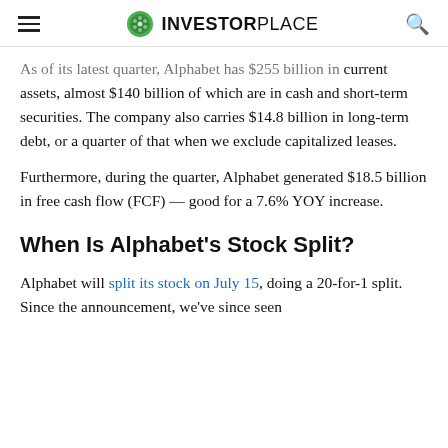INVESTORPLACE
As of its latest quarter, Alphabet has $255 billion in current assets, almost $140 billion of which are in cash and short-term securities. The company also carries $14.8 billion in long-term debt, or a quarter of that when we exclude capitalized leases.
Furthermore, during the quarter, Alphabet generated $18.5 billion in free cash flow (FCF) — good for a 7.6% YOY increase.
When Is Alphabet's Stock Split?
Alphabet will split its stock on July 15, doing a 20-for-1 split. Since the announcement, we've since seen